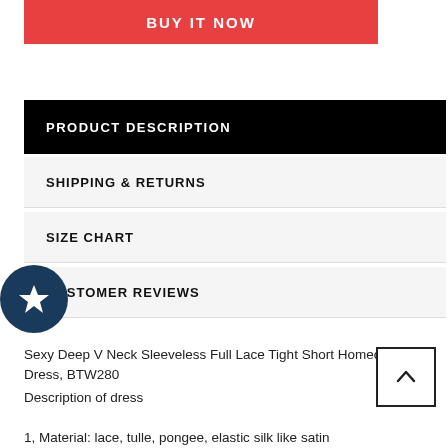[Figure (other): BUY IT NOW button — red/coral rectangle with white uppercase bold text]
PRODUCT DESCRIPTION
SHIPPING & RETURNS
SIZE CHART
CUSTOMER REVIEWS
[Figure (other): Dark teal circular badge with white star icon]
Sexy Deep V Neck Sleeveless Full Lace Tight Short Homecoming Dress, BTW280
[Figure (other): Back to top arrow button — square with upward chevron]
Description of dress
1, Material: lace, tulle, pongee, elastic silk like satin